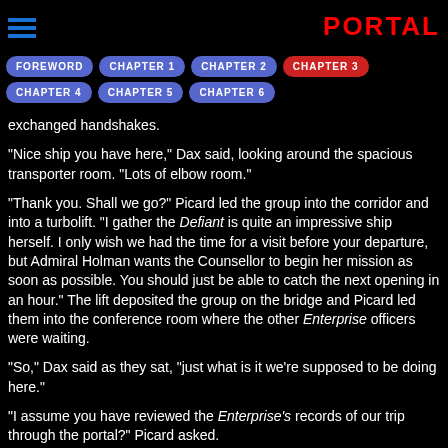PORTAL
FOREWORD | CHAPTER 1 | CHAPTER 2 | CHAPTER 3 | CHAPTER 4 | CHAPTER 5 | CHAPTER 6
exchanged handshakes.
"Nice ship you have here," Dax said, looking around the spacious transporter room. "Lots of elbow room."
"Thank you. Shall we go?" Picard led the group into the corridor and into a turbolift. "I gather the Defiant is quite an impressive ship herself. I only wish we had the time for a visit before your departure, but Admiral Holman wants the Counsellor to begin her mission as soon as possible. You should just be able to catch the next opening in an hour." The lift deposited the group on the bridge and Picard led them into the conference room where the other Enterprise officers were waiting.
"So," Dax said as they sat, "just what is it we're supposed to be doing here."
"I assume you have reviewed the Enterprise's records of our trip through the portal?" Picard asked.
She nodded. "Yes. This 'Empire' sounds like an unfriendly bunch."